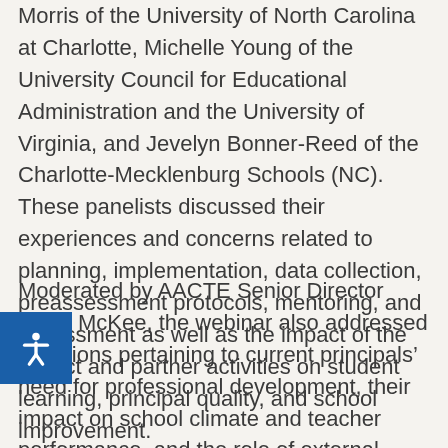Morris of the University of North Carolina at Charlotte, Michelle Young of the University Council for Educational Administration and the University of Virginia, and Jevelyn Bonner-Reed of the Charlotte-Mecklenburg Schools (NC). These panelists discussed their experiences and concerns related to planning, implementation, data collection, preassessment protocols, mentoring, and assessment as well as the impact of the district and partner activities on student learning, principal quality, and school improvement.
Moderated by AACTE Senior Director Linda McKee, the webinar also addressed questions pertaining to current principals' need for professional development, their impact on school climate and teacher performance, and the role of external constituents in principal preparation.
The final webinar in the series, “Expanding the Framework,” will be held January 13 at 12:00 p.m. EST. This event will discuss the evolving impact of